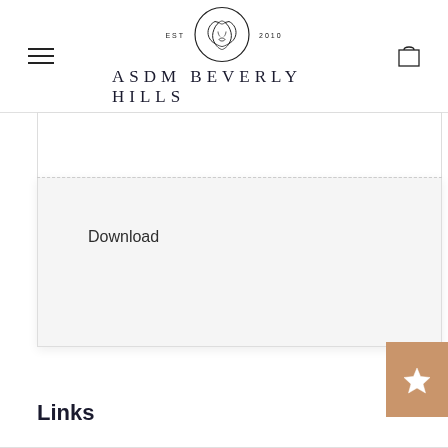ASDM BEVERLY HILLS — EST 2010
[Figure (logo): ASDM Beverly Hills logo with circular line-art illustration of two faces and text 'EST 2010', below which reads 'ASDM BEVERLY HILLS' in large spaced capitals]
Download
Links